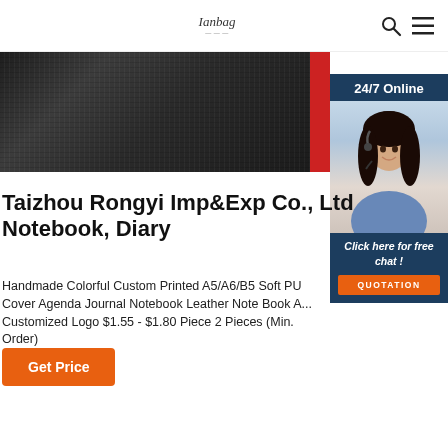Ianbag
[Figure (photo): Dark textured leather product image with red accent on the right edge]
[Figure (infographic): 24/7 Online chat widget with woman wearing headset, 'Click here for free chat!' text and QUOTATION button]
Taizhou Rongyi Imp&Exp Co., Ltd Notebook, Diary
Handmade Colorful Custom Printed A5/A6/B5 Soft PU Cover Agenda Journal Notebook Leather Note Book A... Customized Logo $1.55 - $1.80 Piece 2 Pieces (Min. Order)
Get Price